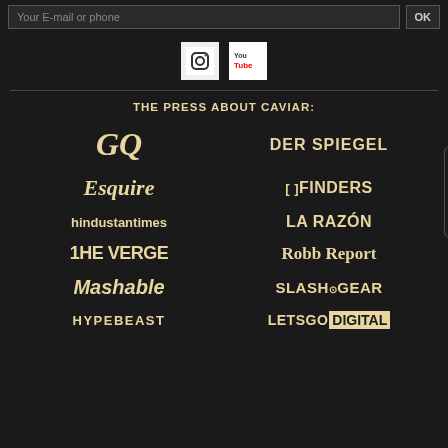Your E-mail or phone
[Figure (logo): Instagram logo icon (white square with camera icon)]
[Figure (logo): YouTube logo icon (white square with YouTube text)]
THE PRESS ABOUT CAVIAR:
[Figure (logo): GQ logo in gold italic serif font]
[Figure (logo): DER SPIEGEL logo in gold bold sans-serif]
[Figure (logo): Esquire logo in gold italic serif]
[Figure (logo): CFINDERS logo in gold with bracket symbols]
[Figure (logo): hindustantimes logo in gold bold]
[Figure (logo): LA RAZÓN logo in gold bold]
[Figure (logo): THE VERGE logo in gold bold]
[Figure (logo): Robb Report logo in gold serif]
[Figure (logo): Mashable logo in gold italic bold]
[Figure (logo): SLASH GEAR logo in gold bold]
[Figure (logo): HYPEBEAST logo in gold bold uppercase]
[Figure (logo): LETSGO DIGITAL logo with DIGITAL in gold box]